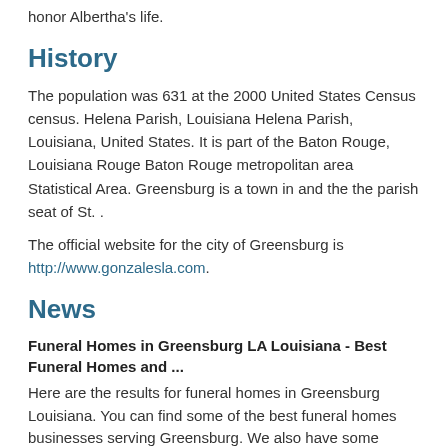honor Albertha's life.
History
The population was 631 at the 2000 United States Census census. Helena Parish, Louisiana Helena Parish, Louisiana, United States. It is part of the Baton Rouge, Louisiana Rouge Baton Rouge metropolitan area Statistical Area. Greensburg is a town in and the the parish seat of St. .
The official website for the city of Greensburg is http://www.gonzalesla.com.
News
Funeral Homes in Greensburg LA Louisiana - Best Funeral Homes and ...
Here are the results for funeral homes in Greensburg Louisiana. You can find some of the best funeral homes businesses serving Greensburg. We also have some funeral homes ...
http://www.americantowns.com/la/greensburg/yp/funeral-homes
Mi: Friendly Service Funeral Home - Greensburg LA